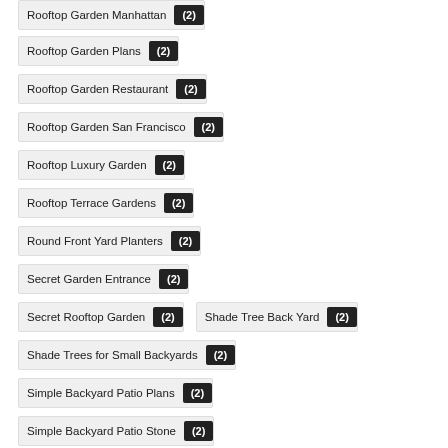Rooftop Garden Plans (2)
Rooftop Garden Restaurant (2)
Rooftop Garden San Francisco (2)
Rooftop Luxury Garden (2)
Rooftop Terrace Gardens (2)
Round Front Yard Planters (2)
Secret Garden Entrance (2)
Secret Rooftop Garden (2)
Shade Tree Back Yard (2)
Shade Trees for Small Backyards (2)
Simple Backyard Patio Plans (2)
Simple Backyard Patio Stone (2)
Simple Front Yard Planters (2)